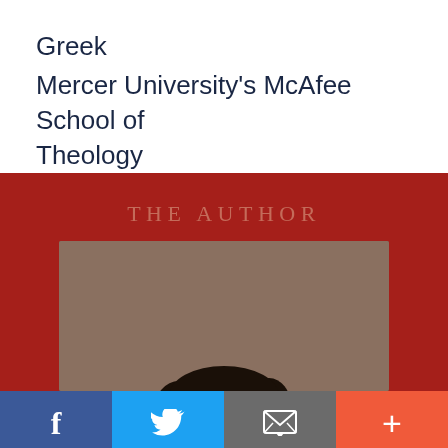Greek
Mercer University's McAfee School of Theology
[Figure (photo): Red background section with 'THE AUTHOR' heading in muted red serif capitals, and a partial author portrait photo showing top of head with dark curly hair against a brown/tan blurred background]
[Figure (infographic): Social sharing bar with four buttons: Facebook (blue, f), Twitter (light blue, bird icon), Email (grey, envelope icon), and More/Plus (coral-red, + icon)]